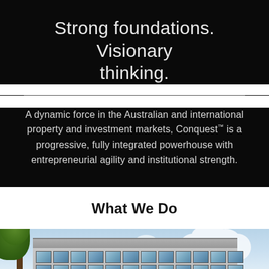Strong foundations. Visionary thinking.
A dynamic force in the Australian and international property and investment markets, Conquest™ is a progressive, fully integrated powerhouse with entrepreneurial agility and institutional strength.
What We Do
[Figure (photo): Exterior photo of a modern multi-storey residential or mixed-use building with glass facades and balconies, surrounded by green trees under a partly cloudy blue sky.]